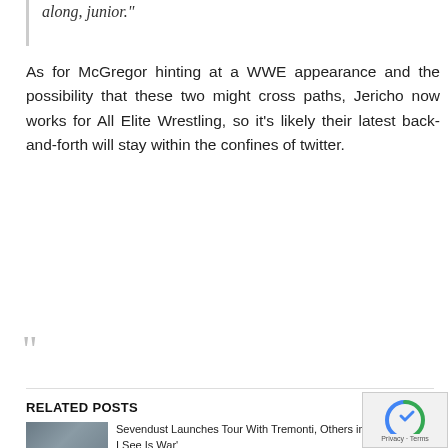along, junior."
As for McGregor hinting at a WWE appearance and the possibility that these two might cross paths, Jericho now works for All Elite Wrestling, so it's likely their latest back-and-forth will stay within the confines of twitter.
RELATED POSTS
Sevendust Launches Tour With Tremonti, Others in Support of 'All I See Is War'
Farruko, Lennox & More Latin Urban Artists Inspired by Bad Bunny to Paint Their Nails